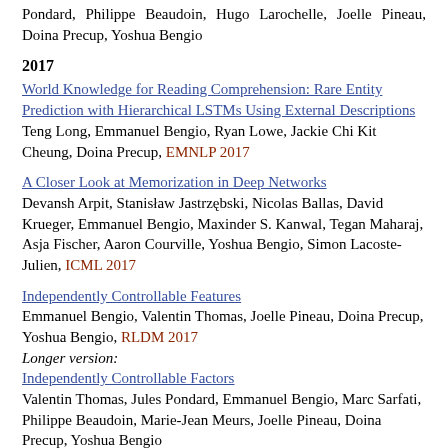Pondard, Philippe Beaudoin, Hugo Larochelle, Joelle Pineau, Doina Precup, Yoshua Bengio
2017
World Knowledge for Reading Comprehension: Rare Entity Prediction with Hierarchical LSTMs Using External Descriptions
Teng Long, Emmanuel Bengio, Ryan Lowe, Jackie Chi Kit Cheung, Doina Precup, EMNLP 2017
A Closer Look at Memorization in Deep Networks
Devansh Arpit, Stanisław Jastrzębski, Nicolas Ballas, David Krueger, Emmanuel Bengio, Maxinder S. Kanwal, Tegan Maharaj, Asja Fischer, Aaron Courville, Yoshua Bengio, Simon Lacoste-Julien, ICML 2017
Independently Controllable Features
Emmanuel Bengio, Valentin Thomas, Joelle Pineau, Doina Precup, Yoshua Bengio, RLDM 2017
Longer version:
Independently Controllable Factors
Valentin Thomas, Jules Pondard, Emmanuel Bengio, Marc Sarfati, Philippe Beaudoin, Marie-Jean Meurs, Joelle Pineau, Doina Precup, Yoshua Bengio